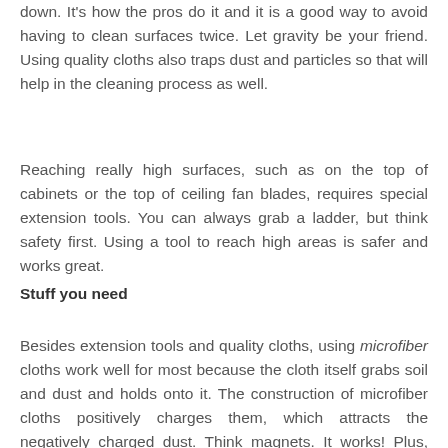Most of the time, the best, efficient method to clean is from the top down. It's how the pros do it and it is a good way to avoid having to clean surfaces twice. Let gravity be your friend. Using quality cloths also traps dust and particles so that will help in the cleaning process as well.
Reaching really high surfaces, such as on the top of cabinets or the top of ceiling fan blades, requires special extension tools. You can always grab a ladder, but think safety first. Using a tool to reach high areas is safer and works great.
Stuff you need
Besides extension tools and quality cloths, using microfiber cloths work well for most because the cloth itself grabs soil and dust and holds onto it. The construction of microfiber cloths positively charges them, which attracts the negatively charged dust. Think magnets. It works! Plus, you can wash microfiber cloths and use